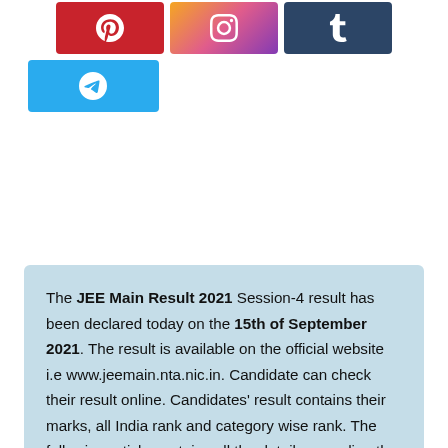[Figure (other): Social media share buttons: Pinterest (red), Instagram (gradient), Tumblr (dark blue), Telegram (blue)]
The JEE Main Result 2021 Session-4 result has been declared today on the 15th of September 2021. The result is available on the official website i.e www.jeemain.nta.nic.in. Candidate can check their result online. Candidates' result contains their marks, all India rank and category wise rank. The following article contains all the details regarding the Joint Entrance Examination result 2021. Candidate can